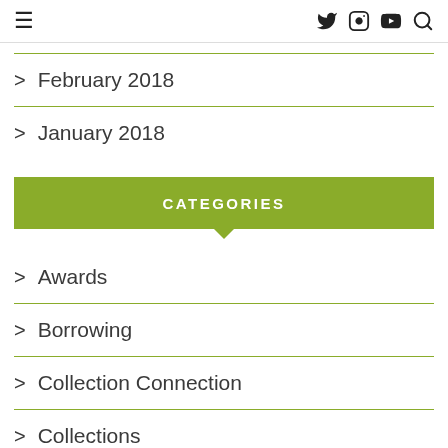≡  🐦 📷 ▶ 🔍
> February 2018
> January 2018
CATEGORIES
> Awards
> Borrowing
> Collection Connection
> Collections